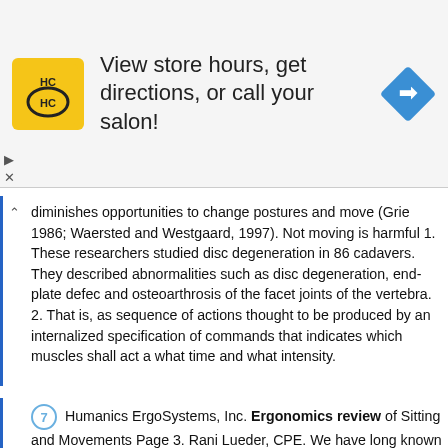[Figure (other): Advertisement banner for HC (Hair Club or similar salon) showing logo, text 'View store hours, get directions, or call your salon!', and a navigation/directions icon]
diminishes opportunities to change postures and move (Grie 1986; Waersted and Westgaard, 1997). Not moving is harmful 1. These researchers studied disc degeneration in 86 cadavers. They described abnormalities such as disc degeneration, end-plate defe and osteoarthrosis of the facet joints of the vertebra. 2. That is, as sequence of actions thought to be produced by an internalized specification of commands that indicates which muscles shall act a what time and what intensity.
7 Humanics ErgoSystems, Inc. Ergonomics review of Sitting and Movements Page 3. Rani Lueder, CPE. We have long known that constrained sitting is uncomfortable. Static postures contribute to a broad range of chronic disorders (, Hunting et al., 1981) that includ joint impairments such as arthritis, inflamed tendons and tendon sheaths, chronic joint degeneration (arthroses), muscle pain (Grandjean, 1987), impaired circulation and tissue damage (Kilbom 1986). Static and constrained postures interrupt blood flow in The effect of static postures direct proportion to the muscle loads